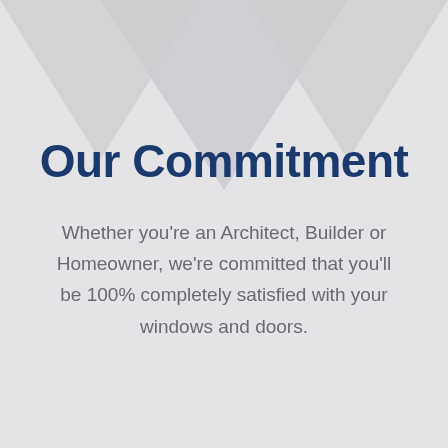Our Commitment
Whether you're an Architect, Builder or Homeowner, we're committed that you'll be 100% completely satisfied with your windows and doors.